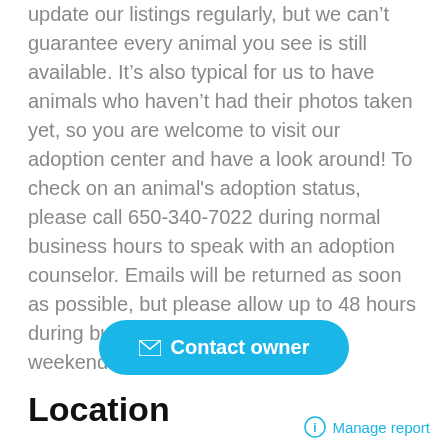update our listings regularly, but we can’t guarantee every animal you see is still available. It’s also typical for us to have animals who haven’t had their photos taken yet, so you are welcome to visit our adoption center and have a look around! To check on an animal's adoption status, please call 650-340-7022 during normal business hours to speak with an adoption counselor. Emails will be returned as soon as possible, but please allow up to 48 hours during busy adoption periods like weekends.
[Figure (other): Contact owner button with envelope icon, cyan/blue rounded pill button]
Location
Manage report